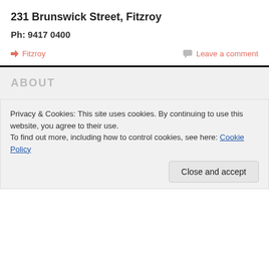231 Brunswick Street, Fitzroy
Ph: 9417 0400
Fitzroy   Leave a comment
ABOUT
Privacy & Cookies: This site uses cookies. By continuing to use this website, you agree to their use.
To find out more, including how to control cookies, see here: Cookie Policy
Close and accept